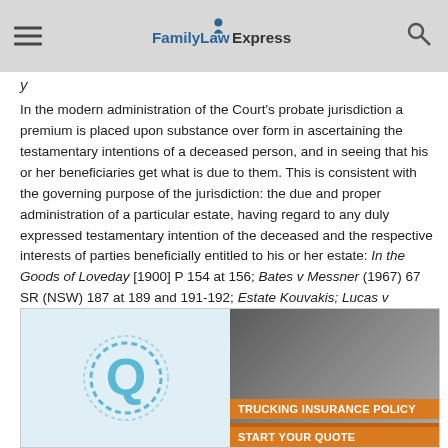FamilyLawExpress
In the modern administration of the Court's probate jurisdiction a premium is placed upon substance over form in ascertaining the testamentary intentions of a deceased person, and in seeing that his or her beneficiaries get what is due to them. This is consistent with the governing purpose of the jurisdiction: the due and proper administration of a particular estate, having regard to any duly expressed testamentary intention of the deceased and the respective interests of parties beneficially entitled to his or her estate: In the Goods of Loveday [1900] P 154 at 156; Bates v Messner (1967) 67 SR (NSW) 187 at 189 and 191-192; Estate Kouvakis; Lucas v Konakis [2014] NSWSC 786 at [211].
[Figure (infographic): Advertisement banner with a Q logo on the left and a trucking insurance ad on the right showing a man and orange banner text 'TRUCKING INSURANCE POLICY START YOUR QUOTE']